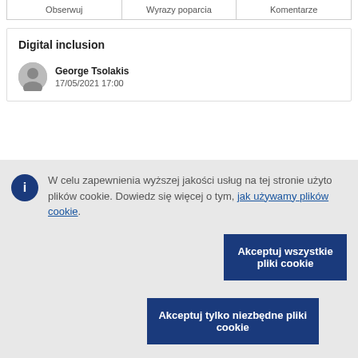| Obserwuj | Wyrazy poparcia | Komentarze |
| --- | --- | --- |
Digital inclusion
George Tsolakis
17/05/2021 17:00
W celu zapewnienia wyższej jakości usług na tej stronie użyto plików cookie. Dowiedz się więcej o tym, jak używamy plików cookie.
Akceptuj wszystkie pliki cookie
Akceptuj tylko niezbędne pliki cookie